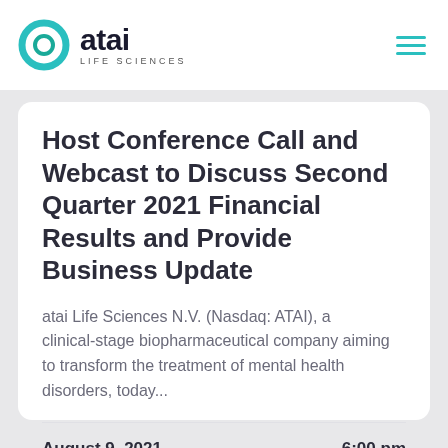atai LIFE SCIENCES
Host Conference Call and Webcast to Discuss Second Quarter 2021 Financial Results and Provide Business Update
atai Life Sciences N.V. (Nasdaq: ATAI), a clinical-stage biopharmaceutical company aiming to transform the treatment of mental health disorders, today...
August 9, 2021    6:00 pm